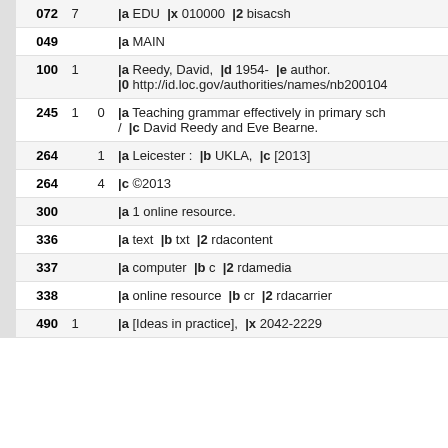| Tag | Ind1 | Ind2 | Data |
| --- | --- | --- | --- |
| 072 | 7 |  | |a EDU  |x 010000  |2 bisacsh |
| 049 |  |  | |a MAIN |
| 100 | 1 |  | |a Reedy, David,  |d 1954-  |e author.
|0 http://id.loc.gov/authorities/names/nb200104... |
| 245 | 1 | 0 | |a Teaching grammar effectively in primary sch...
/  |c David Reedy and Eve Bearne. |
| 264 |  | 1 | |a Leicester :  |b UKLA,  |c [2013] |
| 264 |  | 4 | |c ©2013 |
| 300 |  |  | |a 1 online resource. |
| 336 |  |  | |a text  |b txt  |2 rdacontent |
| 337 |  |  | |a computer  |b c  |2 rdamedia |
| 338 |  |  | |a online resource  |b cr  |2 rdacarrier |
| 490 | 1 |  | |a [Ideas in practice],  |x 2042-2229 |